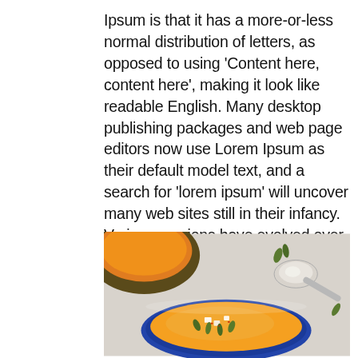Ipsum is that it has a more-or-less normal distribution of letters, as opposed to using 'Content here, content here', making it look like readable English. Many desktop publishing packages and web page editors now use Lorem Ipsum as their default model text, and a search for 'lorem ipsum' will uncover many web sites still in their infancy. Various versions have evolved over the years, sometimes by accident, sometimes on purpose (injected humour and the like).
[Figure (photo): Overhead view of two bowls of orange/yellow soup (likely butternut squash or pumpkin soup) on a light grey surface. The top-left bowl is partially visible in a dark bowl. The main bowl in the center-bottom has a blue rim and is garnished with pumpkin seeds, white cheese cubes, and red pepper flakes. A silver spoon is visible in the upper right area.]